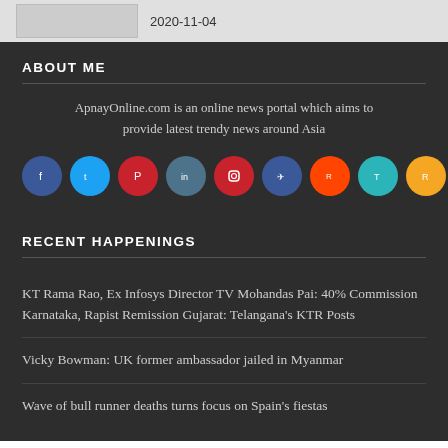2020-11-04
ABOUT ME
ApnayOnline.com is an online news portal which aims to provide latest trendy news around Asia
[Figure (infographic): Row of 9 colored social media icon circles: Facebook (dark blue), Twitter (light blue), Pinterest (red), LinkedIn (slate blue), Instagram (red), Telegram (dark blue), Reddit (orange), TikTok (teal), RSS (orange)]
RECENT HAPPENINGS
KT Rama Rao, Ex Infosys Director TV Mohandas Pai: 40% Commission Karnataka, Rapist Remission Gujarat: Telangana's KTR Posts
Vicky Bowman: UK former ambassador jailed in Myanmar
Wave of bull runner deaths turns focus on Spain's fiestas